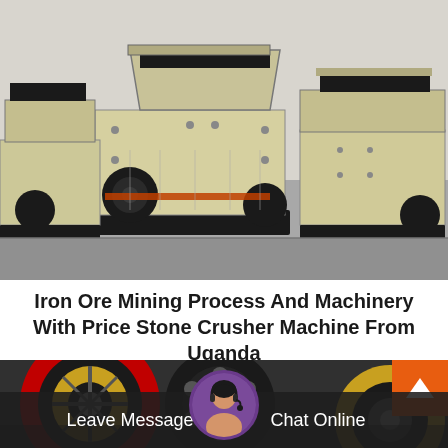[Figure (photo): Multiple large industrial impact crusher machines (stone crusher machines) in beige/cream color with black belt pulleys, arranged in a row inside a factory/warehouse. The machines have hopper inlets on top and are mounted on black metal bases.]
Iron Ore Mining Process And Machinery With Price Stone Crusher Machine From Uganda
[Figure (photo): Close-up photo of industrial crusher machine wheels/pulleys showing red, gold/yellow, and black colored circular disc components with mechanical details.]
Leave Message
Chat Online